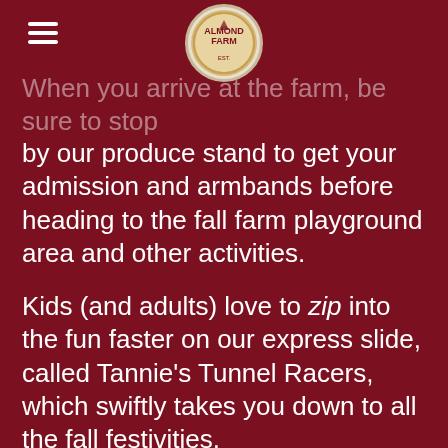[Figure (logo): Almond Farm logo — circular badge with tractor/farm imagery, centered at top of page]
When you arrive at the farm, be sure to stop by our produce stand to get your admission and armbands before heading to the fall farm playground area and other activities.
Kids (and adults) love to zip into the fun faster on our express slide, called Tannie's Tunnel Racers, which swiftly takes you down to all the fall festivities.
Hop aboard our wagon ride* that will take you on a tour of the entire farm and you'll be able to hop off by our largest of three corn mazes, designed by GPS, spread over 4 acres.